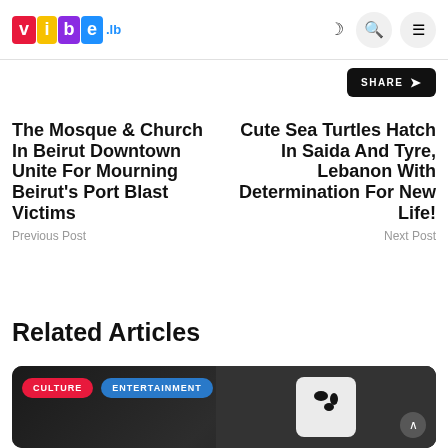vibe.lb
SHARE
The Mosque & Church In Beirut Downtown Unite For Mourning Beirut's Port Blast Victims
Previous Post
Cute Sea Turtles Hatch In Saida And Tyre, Lebanon With Determination For New Life!
Next Post
Related Articles
[Figure (photo): Article card with CULTURE and ENTERTAINMENT tags over a dark image]